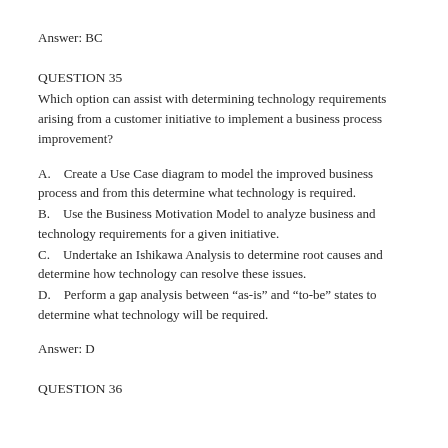Answer: BC
QUESTION 35
Which option can assist with determining technology requirements arising from a customer initiative to implement a business process improvement?
A.    Create a Use Case diagram to model the improved business process and from this determine what technology is required.
B.    Use the Business Motivation Model to analyze business and technology requirements for a given initiative.
C.    Undertake an Ishikawa Analysis to determine root causes and determine how technology can resolve these issues.
D.    Perform a gap analysis between “as-is” and “to-be” states to determine what technology will be required.
Answer: D
QUESTION 36